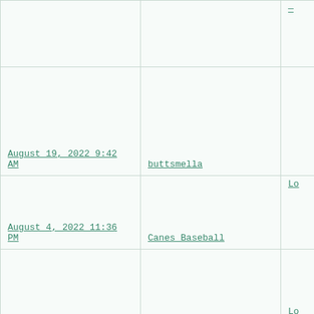|  |  | — |
| August 19, 2022 9:42 AM | buttsmella |  |
| August 4, 2022 11:36 PM | Canes Baseball | Lo |
| August 4, 2022 2:01 PM | Rob's Team | Lo |